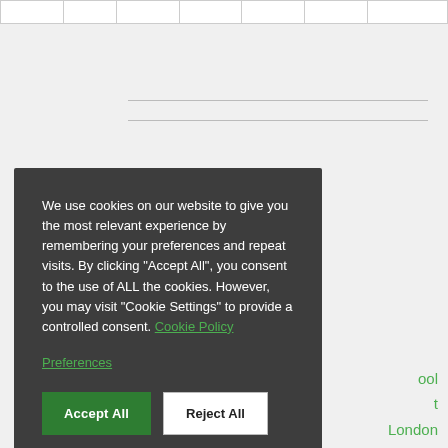|   |   |   |   |   |   |   |
We use cookies on our website to give you the most relevant experience by remembering your preferences and repeat visits. By clicking “Accept All”, you consent to the use of ALL the cookies. However, you may visit “Cookie Settings” to provide a controlled consent. Cookie Policy

Preferences

[Accept All] [Reject All]
ool
t
London